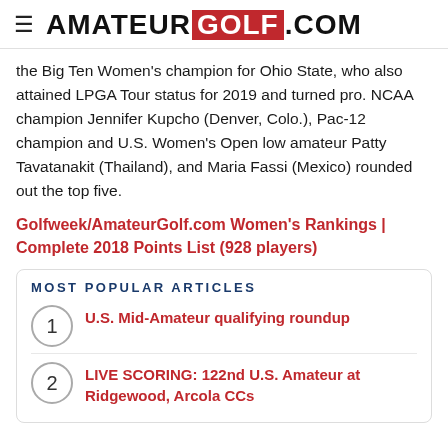≡ AMATEURGOLF.COM
the Big Ten Women's champion for Ohio State, who also attained LPGA Tour status for 2019 and turned pro. NCAA champion Jennifer Kupcho (Denver, Colo.), Pac-12 champion and U.S. Women's Open low amateur Patty Tavatanakit (Thailand), and Maria Fassi (Mexico) rounded out the top five.
Golfweek/AmateurGolf.com Women's Rankings | Complete 2018 Points List (928 players)
MOST POPULAR ARTICLES
U.S. Mid-Amateur qualifying roundup
LIVE SCORING: 122nd U.S. Amateur at Ridgewood, Arcola CCs